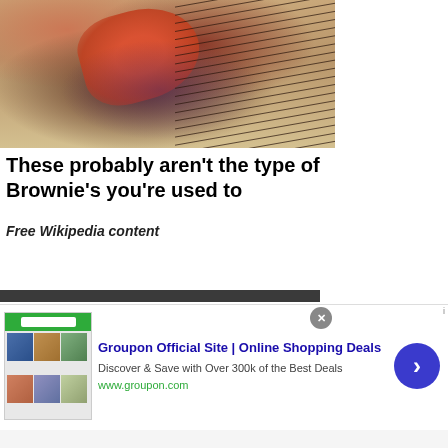[Figure (illustration): Partial illustration showing a figure with red/orange boots and dark flowing hair or feathers, painted in a classic style on a beige/tan background.]
These probably aren't the type of Brownie's you're used to
Free Wikipedia content
Recommended by
[Figure (screenshot): Black box with white number 0 displayed in the upper right area of the page.]
[Figure (infographic): Advertisement for Groupon Official Site. Shows ad thumbnail images, title 'Groupon Official Site | Online Shopping Deals', description 'Discover & Save with Over 300k of the Best Deals', URL www.groupon.com, close button and forward arrow button.]